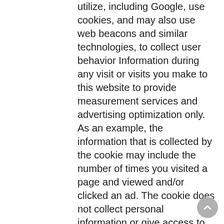utilize, including Google, use cookies, and may also use web beacons and similar technologies, to collect user behavior Information during any visit or visits you make to this website to provide measurement services and advertising optimization only. As an example, the information that is collected by the cookie may include the number of times you visited a page and viewed and/or clicked an ad. The cookie does not collect personal information or give access to your computer. If you do not want to participate in “Targeted Advertising” andor “Google Analytics” data gathering you can opt out of the automated collection of information by third party ad networks, including Google, by visiting the Digital Advertising Alliance Consumer Choice page at https://optout.aboutads.info and by visiting the Network Advertising Initiative Consumer Opt-Out page at optout.networkadvertising.org. You can also